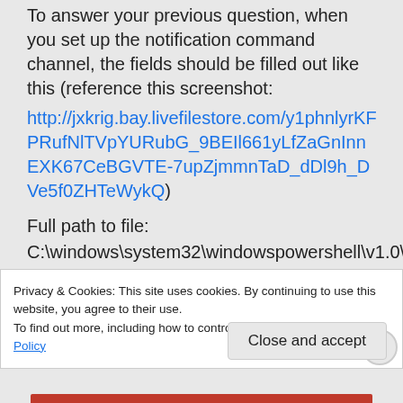To answer your previous question, when you set up the notification command channel, the fields should be filled out like this (reference this screenshot: http://jxkrig.bay.livefilestore.com/y1phnlyrKFPRufNlTVpYURubG_9BEIl661yLfZaGnInnEXK67CeBGVTE-7upZjmmnTaD_dDl9h_DVe5f0ZHTeWykQ)

Full path to file:
C:\windows\system32\windowspowershell\v1.0\powershell.exe
Privacy & Cookies: This site uses cookies. By continuing to use this website, you agree to their use.
To find out more, including how to control cookies, see here: Cookie Policy